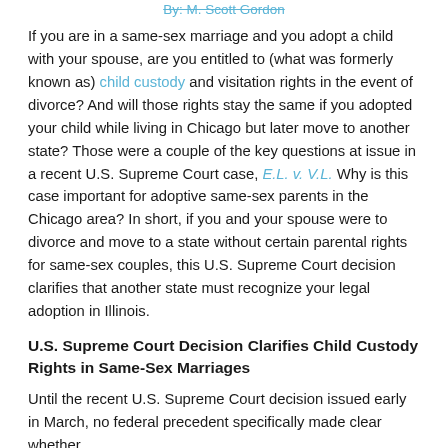By: M. Scott Gordon
If you are in a same-sex marriage and you adopt a child with your spouse, are you entitled to (what was formerly known as) child custody and visitation rights in the event of divorce? And will those rights stay the same if you adopted your child while living in Chicago but later move to another state? Those were a couple of the key questions at issue in a recent U.S. Supreme Court case, E.L. v. V.L. Why is this case important for adoptive same-sex parents in the Chicago area? In short, if you and your spouse were to divorce and move to a state without certain parental rights for same-sex couples, this U.S. Supreme Court decision clarifies that another state must recognize your legal adoption in Illinois.
U.S. Supreme Court Decision Clarifies Child Custody Rights in Same-Sex Marriages
Until the recent U.S. Supreme Court decision issued early in March, no federal precedent specifically made clear whether states had to recognize the same parental rights as Illinois.